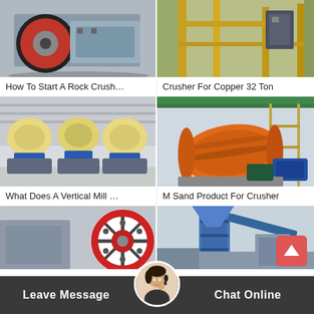[Figure (photo): Close-up of industrial jaw crusher with red flywheel]
[Figure (photo): Industrial facility interior with yellow crane structure and electrical panel]
How To Start A Rock Crush…
Crusher For Copper 32 Ton
[Figure (photo): Multiple cone crushers on blue bases in outdoor yard with factory building]
[Figure (photo): Large orange ball mill/grinding drum in industrial warehouse with scaffolding]
What Does A Vertical Mill …
M Sand Product For Crusher
[Figure (photo): Industrial crusher with red and white flywheel in factory]
[Figure (photo): Blue industrial tower/silo structure outdoors]
Leave Message
Chat Online